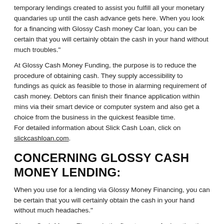temporary lendings created to assist you fulfill all your monetary quandaries up until the cash advance gets here. When you look for a financing with Glossy Cash money Car loan, you can be certain that you will certainly obtain the cash in your hand without much troubles."
At Glossy Cash Money Funding, the purpose is to reduce the procedure of obtaining cash. They supply accessibility to fundings as quick as feasible to those in alarming requirement of cash money. Debtors can finish their finance application within mins via their smart device or computer system and also get a choice from the business in the quickest feasible time.
For detailed information about Slick Cash Loan, click on slickcashloan.com.
CONCERNING GLOSSY CASH MONEY LENDING:
When you use for a lending via Glossy Money Financing, you can be certain that you will certainly obtain the cash in your hand without much headaches."
Glossy Cash Money Finance is the finest source for locating the ideal option for reputable and also fast fundings.
These fundings are unprotected so there is no requirement to dedicate any kind of individual properties to get of the finance. For consumers from state to state, they are correct choices provided as Glossy Cash...